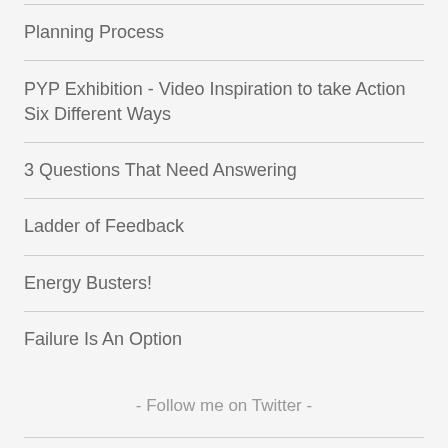Planning Process
PYP Exhibition - Video Inspiration to take Action Six Different Ways
3 Questions That Need Answering
Ladder of Feedback
Energy Busters!
Failure Is An Option
- Follow me on Twitter -